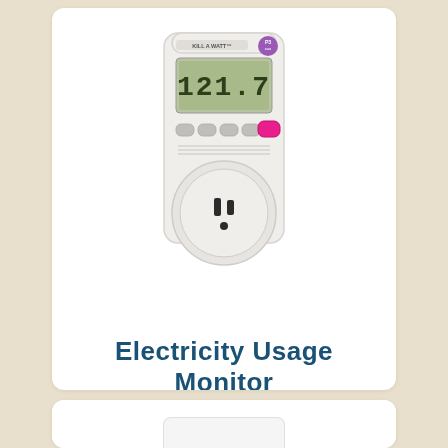[Figure (photo): Photo of a Kill A Watt electricity usage monitor device — a white plug-in device with a digital LCD display showing '121.7', several grey buttons, a pink button on the right, and a standard US two-prong electrical outlet socket at the bottom.]
Electricity Usage Monitor
[Figure (photo): Partial photo at the bottom of the page, showing the top portion of another product (appears to be a white device, partially visible).]